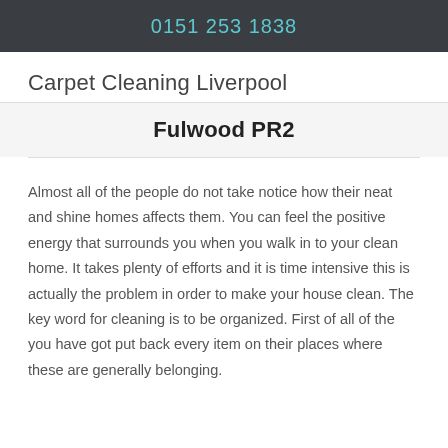0151 253 1838
Carpet Cleaning Liverpool
Fulwood PR2
Almost all of the people do not take notice how their neat and shine homes affects them. You can feel the positive energy that surrounds you when you walk in to your clean home. It takes plenty of efforts and it is time intensive this is actually the problem in order to make your house clean. The key word for cleaning is to be organized. First of all of the you have got put back every item on their places where these are generally belonging.